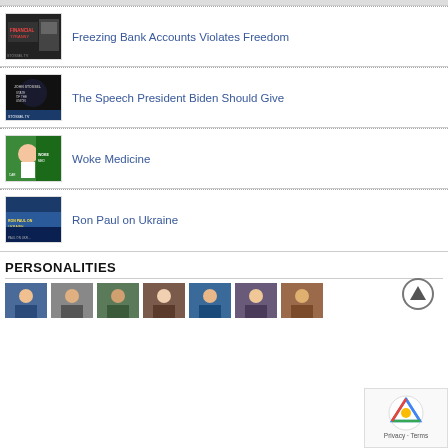[Figure (screenshot): Thumbnail image for article: Freezing Bank Accounts Violates Freedom]
Freezing Bank Accounts Violates Freedom
[Figure (screenshot): Thumbnail image for article: The Speech President Biden Should Give]
The Speech President Biden Should Give
[Figure (screenshot): Thumbnail image for article: Woke Medicine]
Woke Medicine
[Figure (screenshot): Thumbnail image for article: Ron Paul on Ukraine]
Ron Paul on Ukraine
PERSONALITIES
[Figure (photo): Row of personality thumbnail photos]